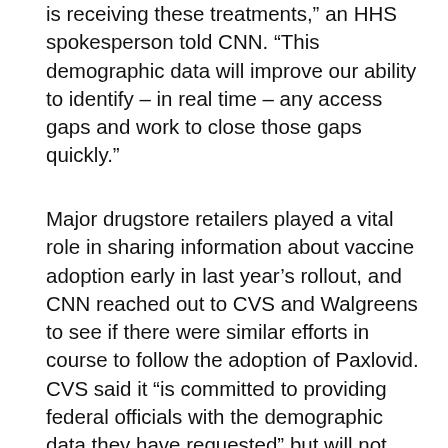is receiving these treatments," an HHS spokesperson told CNN. "This demographic data will improve our ability to identify – in real time – any access gaps and work to close those gaps quickly."
Major drugstore retailers played a vital role in sharing information about vaccine adoption early in last year's rollout, and CNN reached out to CVS and Walgreens to see if there were similar efforts in course to follow the adoption of Paxlovid. CVS said it "is committed to providing federal officials with the demographic data they have requested" but will not share further details, and Walgreens said they are in the "early stages" of collecting information. information based on a "recent request from the federal government". "